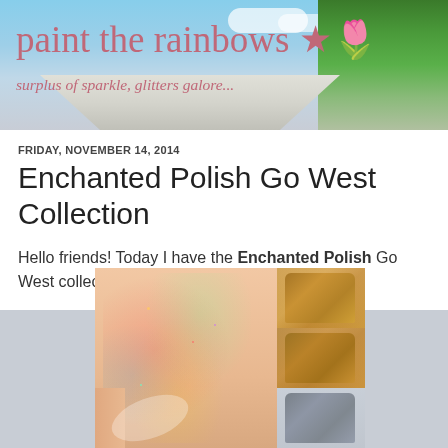paint the rainbows ★🌷
surplus of sparkle, glitters galore...
FRIDAY, NOVEMBER 14, 2014
Enchanted Polish Go West Collection
Hello friends! Today I have the Enchanted Polish Go West collection to share with you!
[Figure (photo): Collage of nail polish swatches: large image of blue-purple holographic glitter nail polish on fingers, with smaller images on the right showing golden/bronze shimmer nail polish and a gray glitter nail polish]